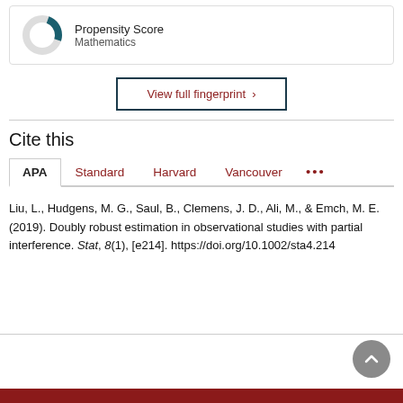[Figure (donut-chart): Small donut chart showing partial fill in dark teal/green color, representing Propensity Score topic fingerprint]
Propensity Score
Mathematics
View full fingerprint ›
Cite this
APA  Standard  Harvard  Vancouver  •••
Liu, L., Hudgens, M. G., Saul, B., Clemens, J. D., Ali, M., & Emch, M. E. (2019). Doubly robust estimation in observational studies with partial interference. Stat, 8(1), [e214]. https://doi.org/10.1002/sta4.214